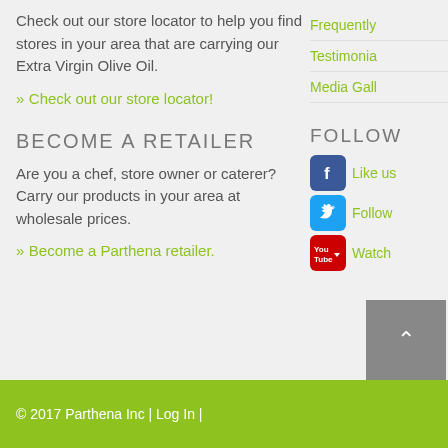Check out our store locator to help you find stores in your area that are carrying our Extra Virgin Olive Oil.
» Check out our store locator!
BECOME A RETAILER
Are you a chef, store owner or caterer? Carry our products in your area at wholesale prices.
» Become a Parthena retailer.
Frequently
Testimonia
Media Gall
FOLLOW
Like us
Follow
Watch
© 2017 Parthena Inc | Log In |